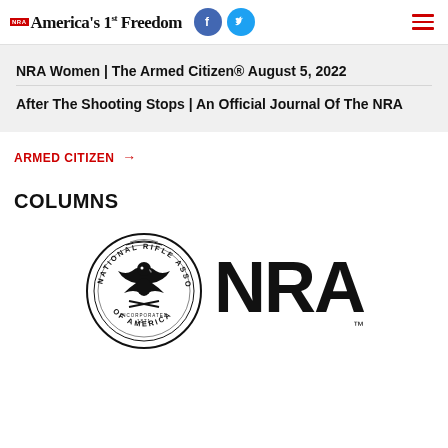NRA America's 1st Freedom
NRA Women | The Armed Citizen® August 5, 2022
After The Shooting Stops | An Official Journal Of The NRA
ARMED CITIZEN →
COLUMNS
[Figure (logo): NRA (National Rifle Association of America) official logo consisting of the circular seal with eagle and rifles on the left, and the large bold NRA wordmark with TM on the right]